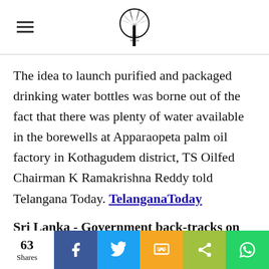CSPO Watch (logo)
The idea to launch purified and packaged drinking water bottles was borne out of the fact that there was plenty of water available in the borewells at Apparaopeta palm oil factory in Kothagudem district, TS Oilfed Chairman K Ramakrishna Reddy told Telangana Today. TelanganaToday
Sri Lanka - Government back-tracks on palm oil import ban
The Government has taken two steps back after the first step of banning the import of palm oil, the
63 Shares | Facebook | Twitter | SMS | Share | WhatsApp